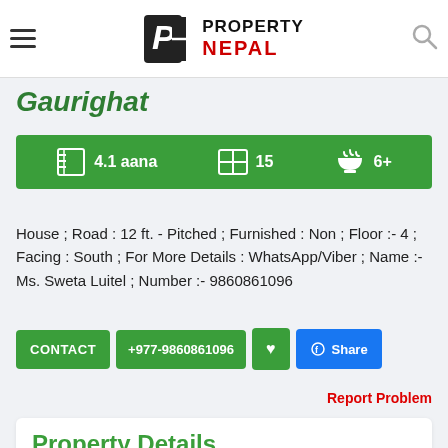Property Nepal
Gaurighat
4.1 aana  15  6+
House ; Road : 12 ft. - Pitched ; Furnished : Non ; Floor :- 4 ; Facing : South ; For More Details : WhatsApp/Viber ; Name :- Ms. Sweta Luitel ; Number :- 9860861096
CONTACT  +977-9860861096  Share
Report Problem
Property Details.
Name :  House For Sale!